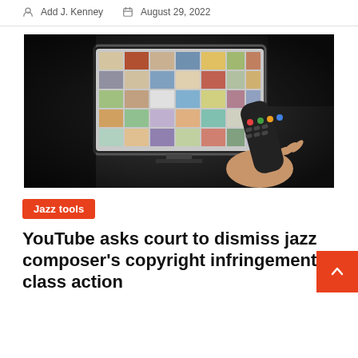Add J. Kenney   August 29, 2022
[Figure (photo): A hand holding a TV remote control pointed at a large screen displaying a grid of colorful streaming content thumbnails, dark background]
Jazz tools
YouTube asks court to dismiss jazz composer's copyright infringement class action